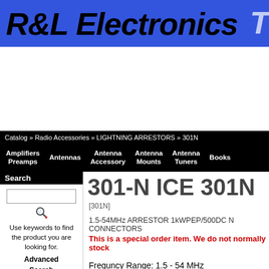R&L Electronics
Catalog » Radio Accessories » LIGHTNING ARRESTORS » 301N
Amplifiers Preamps | Antennas | Antenna Accessory | Antenna Mounts | Antenna Tuners | Books
301-N ICE 301N
[301N]
1.5-54MHz ARRESTOR 1kWPEP/500DC N CONNECTORS
This is a special order item. We do not normally stock
Frequncy Range: 1.5 - 54 MHz